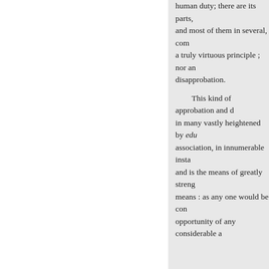human duty; there are its parts, and most of them in several, com a truly virtuous principle ; nor an disapprobation.
This kind of approbation and d in many vastly heightened by education, association, in innumerable insta and is the means of greatly streng means : as any one would be con opportunity of any considerable a
Of natural Conscience, and th
There is yet another disposition d the consistence and harmony of r love, or self-union; and that is, a with himself, and as it were again of the mind to be uneasy in the c for doing to him, if they were in would be displeased with them f
I have observed from time to t